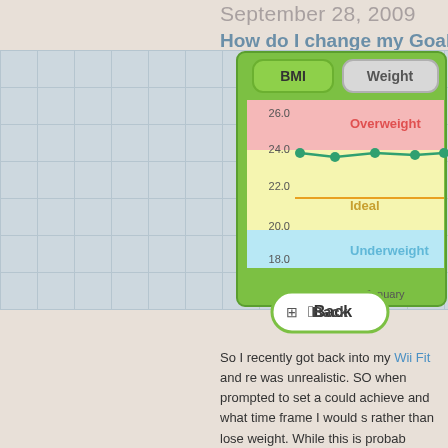September 28, 2009
How do I change my Goal in Wii Fit
[Figure (screenshot): Wii Fit BMI chart screenshot showing a BMI line chart with values around 24.0, with zones labeled Overweight (above 26.0, red), Ideal (22.0-26.0, yellow), and Underweight (below 18.0, blue). Buttons for BMI and Weight shown at top. X-axis shows January. A Back button appears below the chart.]
So I recently got back into my Wii Fit and re was unrealistic. SO when prompted to set a could achieve and what time frame I would s rather than lose weight. While this is probab